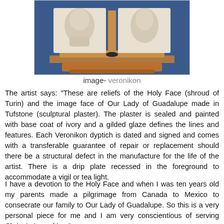[Figure (photo): Two relief sculptures of holy faces mounted in a wooden frame with a base, against a blue background. Left panel shows the Holy Face (Shroud of Turin), right panel shows Our Lady of Guadalupe.]
image- veronikon
The artist says: "These are reliefs of the Holy Face (shroud of Turin) and the image face of Our Lady of Guadalupe made in Tufstone (sculptural plaster). The plaster is sealed and painted with base coat of ivory and a gilded glaze defines the lines and features. Each Veronikon dyptich is dated and signed and comes with a transferable guarantee of repair or replacement should there be a structural defect in the manufacture for the life of the artist. There is a drip plate recessed in the foreground to accommodate a vigil or tea light.
I have a devotion to the Holy Face and when I was ten years old my parents made a pilgrimage from Canada to Mexico to consecrate our family to Our Lady of Guadalupe. So this is a very personal piece for me and I am very conscientious of serving Christ in its making."